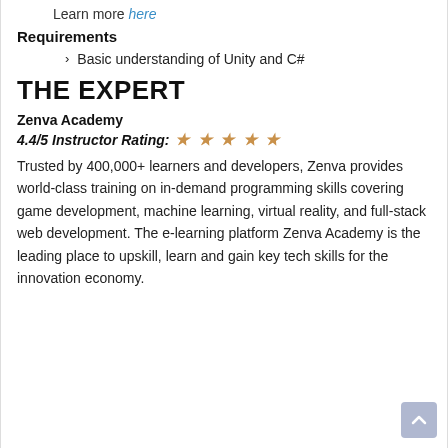Learn more here
Requirements
Basic understanding of Unity and C#
THE EXPERT
Zenva Academy
4.4/5 Instructor Rating: ★ ★ ★ ★ ★
Trusted by 400,000+ learners and developers, Zenva provides world-class training on in-demand programming skills covering game development, machine learning, virtual reality, and full-stack web development. The e-learning platform Zenva Academy is the leading place to upskill, learn and gain key tech skills for the innovation economy.